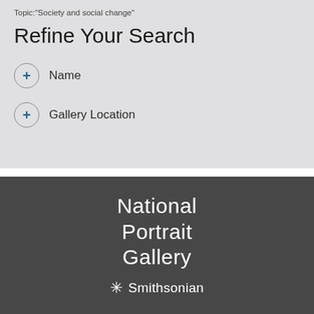Topic:"Society and social change"
Refine Your Search
+ Name
+ Gallery Location
[Figure (logo): National Portrait Gallery Smithsonian logo in white text on dark gray background]